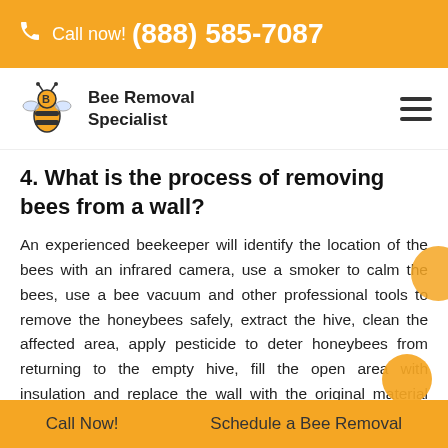Call now! (888) 585-7087
[Figure (logo): Bee Removal Specialist logo with bee icon and company name]
4. What is the process of removing bees from a wall?
An experienced beekeeper will identify the location of the bees with an infrared camera, use a smoker to calm the bees, use a bee vacuum and other professional tools to remove the honeybees safely, extract the hive, clean the affected area, apply pesticide to deter honeybees from returning to the empty hive, fill the open area with insulation and replace the wall with the original material whenever is possible.
Call Now! | Schedule a Bee Removal